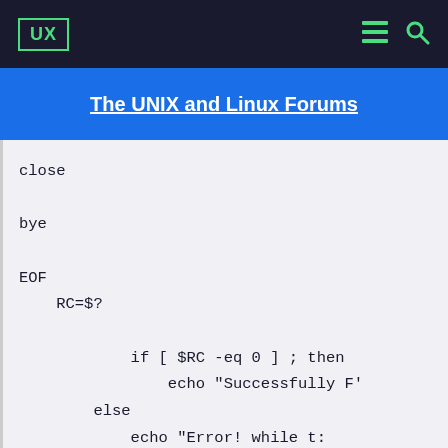UX
The UNIX and Linux Forums
close

bye

EOF
    RC=$?

            if [ $RC -eq 0 ] ; then
                echo "Successfully F'
        else
            echo "Error! while t:
            exit 1
        fi